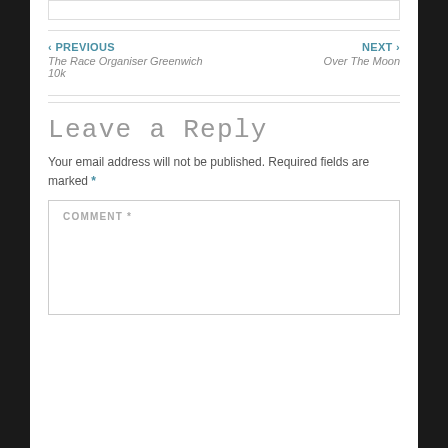‹ PREVIOUS
The Race Organiser Greenwich 10k
NEXT ›
Over The Moon
Leave a Reply
Your email address will not be published. Required fields are marked *
COMMENT *